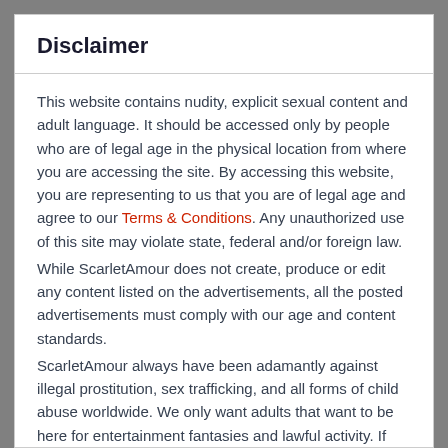Disclaimer
This website contains nudity, explicit sexual content and adult language. It should be accessed only by people who are of legal age in the physical location from where you are accessing the site. By accessing this website, you are representing to us that you are of legal age and agree to our Terms & Conditions. Any unauthorized use of this site may violate state, federal and/or foreign law.
While ScarletAmour does not create, produce or edit any content listed on the advertisements, all the posted advertisements must comply with our age and content standards.
ScarletAmour always have been adamantly against illegal prostitution, sex trafficking, and all forms of child abuse worldwide. We only want adults that want to be here for entertainment fantasies and lawful activity. If you want to do something illegal, you are not welcome here.